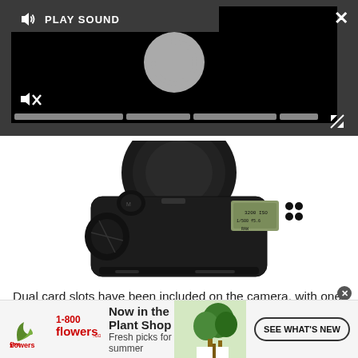[Figure (screenshot): Dark grey media player UI overlay with a black video area showing a circular spinner/loading icon, a 'PLAY SOUND' label with speaker icon, a mute icon, progress bar segments at bottom, a close X button top-right, and expand arrows bottom-right.]
[Figure (photo): Top-down view of a Canon DSLR camera (Canon 5D Mark III style) showing the top panel with dials, LCD display, hot shoe, and lens mounted.]
Dual card slots have been included on the camera, with one for Compact Flash and the other for SD. It seems that Canon has so far rejected the new XQD memory card format that is utilised by the Nikon D4.
[Figure (infographic): Advertisement banner for 1-800-flowers.com: 'Now in the Plant Shop - Fresh picks for summer' with a photo of potted plants and a 'SEE WHAT'S NEW' call-to-action button.]